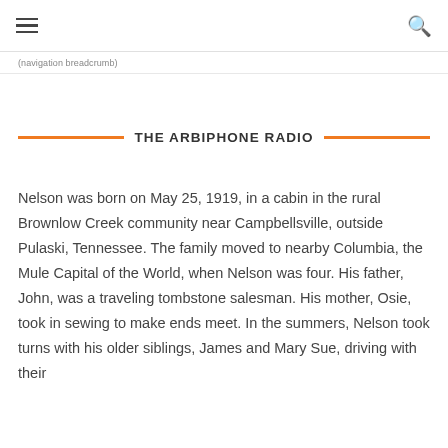≡  🔍
(breadcrumb navigation)
THE ARBIPHONE RADIO
Nelson was born on May 25, 1919, in a cabin in the rural Brownlow Creek community near Campbellsville, outside Pulaski, Tennessee. The family moved to nearby Columbia, the Mule Capital of the World, when Nelson was four. His father, John, was a traveling tombstone salesman. His mother, Osie, took in sewing to make ends meet. In the summers, Nelson took turns with his older siblings, James and Mary Sue, driving with their